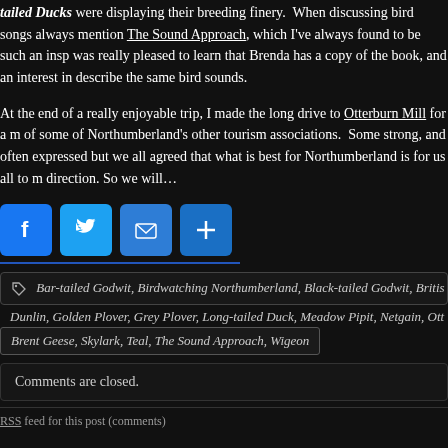tailed Ducks were displaying their breeding finery. When discussing bird songs always mention The Sound Approach, which I've always found to be such an inspi was really pleased to learn that Brenda has a copy of the book, and an interest in describe the same bird sounds.
At the end of a really enjoyable trip, I made the long drive to Otterburn Mill for a m of some of Northumberland's other tourism associations. Some strong, and often expressed but we all agreed that what is best for Northumberland is for us all to m direction. So we will…
[Figure (other): Social share buttons: Facebook (blue), Twitter (blue), Email (blue), Plus/More (blue)]
Bar-tailed Godwit, Birdwatching Northumberland, Black-tailed Godwit, Britis
Dunlin, Golden Plover, Grey Plover, Long-tailed Duck, Meadow Pipit, Netgain, Ott
Brent Geese, Skylark, Teal, The Sound Approach, Wigeon
Comments are closed.
RSS feed for this post (comments)